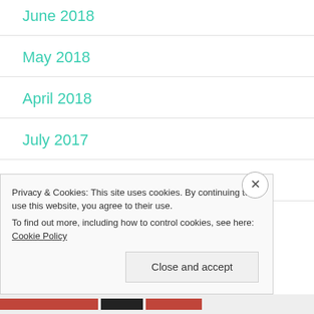June 2018
May 2018
April 2018
July 2017
June 2017
May 2017
Privacy & Cookies: This site uses cookies. By continuing to use this website, you agree to their use.
To find out more, including how to control cookies, see here: Cookie Policy
Close and accept